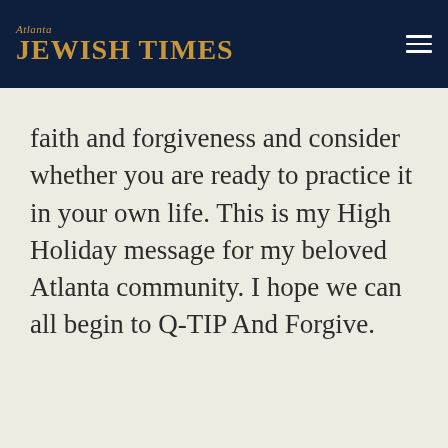Atlanta Jewish Times
faith and forgiveness and consider whether you are ready to practice it in your own life. This is my High Holiday message for my beloved Atlanta community. I hope we can all begin to Q-TIP And Forgive.